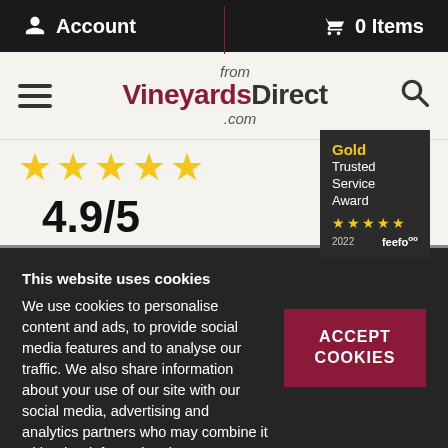Account  0 Items
[Figure (logo): fromVineyardsDirect.com logo with hamburger menu and search icon]
[Figure (infographic): 5 gold stars rating 4.9/5 with Gold Trusted Service Award 2022 feefo badge]
This website uses cookies
We use cookies to personalise content and ads, to provide social media features and to analyse our traffic. We also share information about your use of our site with our social media, advertising and analytics partners who may combine it with other information that you've provided to them or that they've collected from your use of their services.